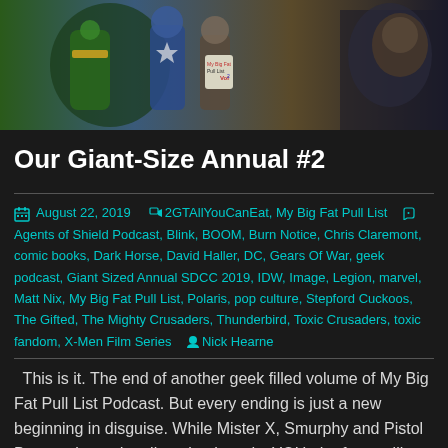[Figure (illustration): Banner image showing comic book characters including superheroes and a man's face on dark background, with a 'My Big Fat Pull List' notepad visible]
Our Giant-Size Annual #2
August 22, 2019   2GTAllYouCanEat, My Big Fat Pull List   Agents of Shield Podcast, Blink, BOOM, Burn Notice, Chris Claremont, comic books, Dark Horse, David Haller, DC, Gears Of War, geek podcast, Giant Sized Annual SDCC 2019, IDW, Image, Legion, marvel, Matt Nix, My Big Fat Pull List, Polaris, pop culture, Stepford Cuckoos, The Gifted, The Mighty Crusaders, Thunderbird, Toxic Crusaders, toxic fandom, X-Men Film Series   Nick Hearne
This is it. The end of another geek filled volume of My Big Fat Pull List Podcast. But every ending is just a new beginning in disguise. While Mister X, Smurphy and Pistol Danger tie up dangling plot threads, YOU, the fans, will get to share in